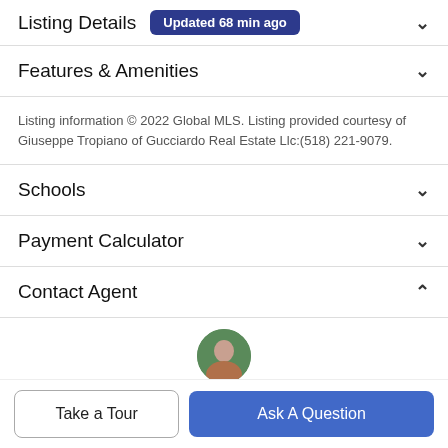Listing Details Updated 68 min ago
Features & Amenities
Listing information © 2022 Global MLS. Listing provided courtesy of Giuseppe Tropiano of Gucciardo Real Estate Llc:(518) 221-9079.
Schools
Payment Calculator
Contact Agent
Take a Tour
Ask A Question